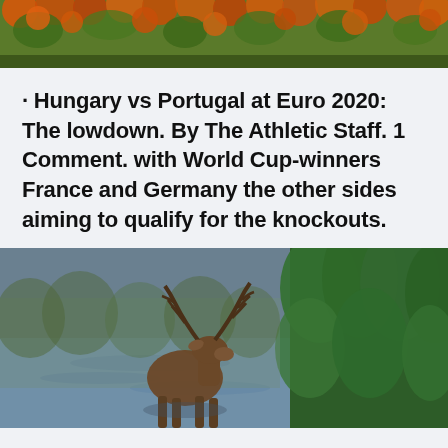[Figure (photo): Aerial or close-up view of orange and green autumn foliage — top portion cropped]
· Hungary vs Portugal at Euro 2020: The lowdown. By The Athletic Staff. 1 Comment. with World Cup-winners France and Germany the other sides aiming to qualify for the knockouts.
[Figure (photo): A moose or large deer with antlers standing near a river with green conifer trees in the background — bottom portion cropped]